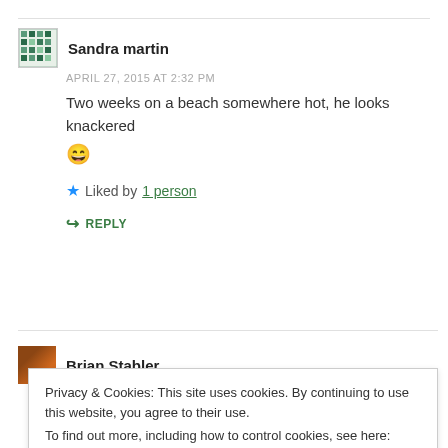Sandra martin
APRIL 27, 2015 AT 2:32 PM
Two weeks on a beach somewhere hot, he looks knackered 😄
★ Liked by 1 person
↪ REPLY
Brian Stabler
APRIL 27, 2015 AT 2:34 PM
Privacy & Cookies: This site uses cookies. By continuing to use this website, you agree to their use.
To find out more, including how to control cookies, see here: Cookie Policy
Close and accept
↪ REPLY